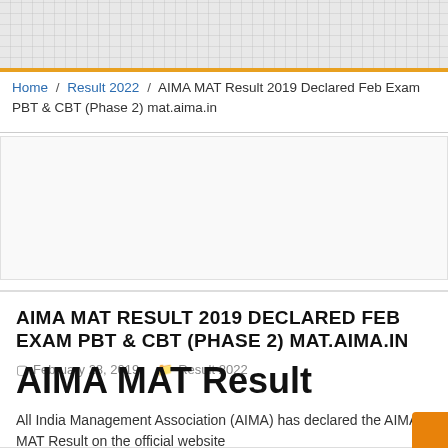[Figure (other): Decorative grid/checker pattern header background in light gray]
Home / Result 2022 / AIMA MAT Result 2019 Declared Feb Exam PBT & CBT (Phase 2) mat.aima.in
AIMA MAT RESULT 2019 DECLARED FEB EXAM PBT & CBT (PHASE 2) MAT.AIMA.IN
February 28, 2019   Result 2022
AIMA MAT Result
All India Management Association (AIMA) has declared the AIMA MAT Result on the official website